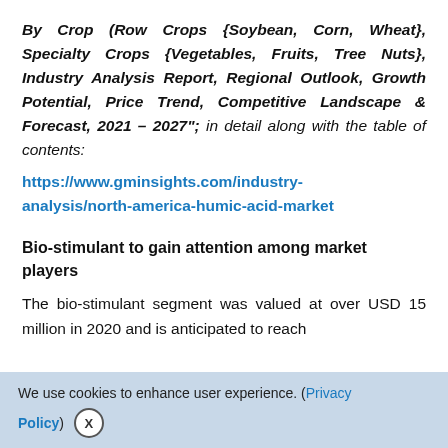By Crop (Row Crops {Soybean, Corn, Wheat}, Specialty Crops {Vegetables, Fruits, Tree Nuts}, Industry Analysis Report, Regional Outlook, Growth Potential, Price Trend, Competitive Landscape & Forecast, 2021 – 2027"; in detail along with the table of contents:
https://www.gminsights.com/industry-analysis/north-america-humic-acid-market
Bio-stimulant to gain attention among market players
The bio-stimulant segment was valued at over USD 15 million in 2020 and is anticipated to reach
We use cookies to enhance user experience. (Privacy Policy)